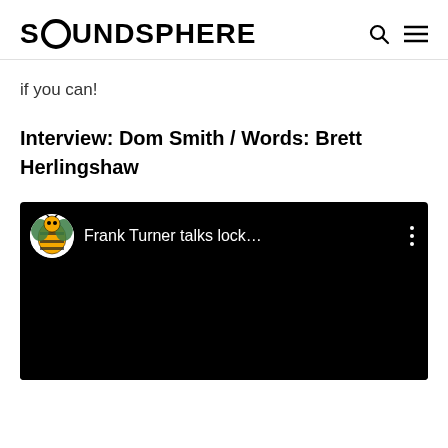SOUNDSPHERE
if you can!
Interview: Dom Smith / Words: Brett Herlingshaw
[Figure (screenshot): Embedded YouTube video player with dark background showing channel avatar (tiger/wasp mascot logo) and title 'Frank Turner talks lock...' with a three-dot menu icon on the right.]